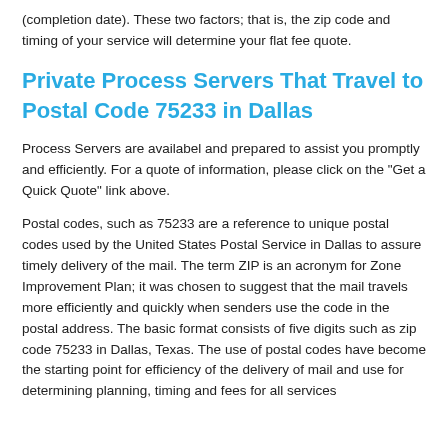(completion date). These two factors; that is, the zip code and timing of your service will determine your flat fee quote.
Private Process Servers That Travel to Postal Code 75233 in Dallas
Process Servers are availabel and prepared to assist you promptly and efficiently. For a quote of information, please click on the "Get a Quick Quote" link above.
Postal codes, such as 75233 are a reference to unique postal codes used by the United States Postal Service in Dallas to assure timely delivery of the mail. The term ZIP is an acronym for Zone Improvement Plan; it was chosen to suggest that the mail travels more efficiently and quickly when senders use the code in the postal address. The basic format consists of five digits such as zip code 75233 in Dallas, Texas. The use of postal codes have become the starting point for efficiency of the delivery of mail and use for determining planning, timing and fees for all services